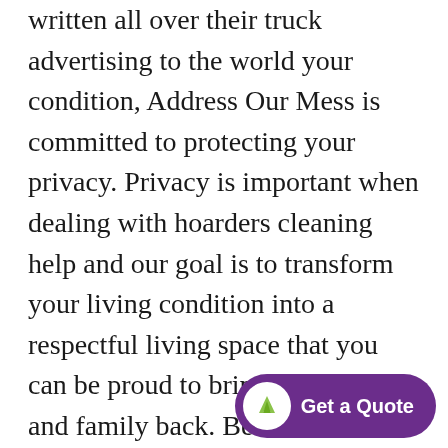written all over their truck advertising to the world your condition, Address Our Mess is committed to protecting your privacy. Privacy is important when dealing with hoarders cleaning help and our goal is to transform your living condition into a respectful living space that you can be proud to bring your friends and family back. Best of all we have the processes to prevent others from ever knowing you had an issue in the first place. Imagine having family and friends over to visit, cook for, and just to hang out and watch television
[Figure (other): Purple rounded button with Address Our Mess logo (green mountain/chevron icon on white circle) and 'Get a Quote' text in white on purple background]